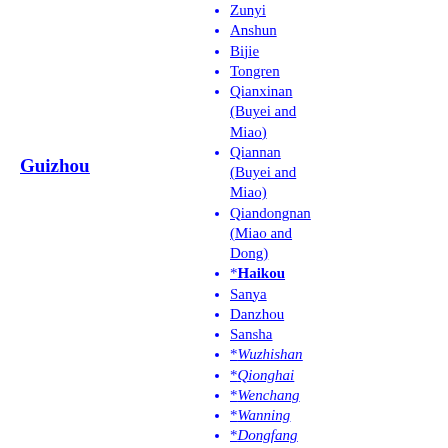Guizhou
Zunyi
Anshun
Bijie
Tongren
Qianxinan (Buyei and Miao)
Qiannan (Buyei and Miao)
Qiandongnan (Miao and Dong)
*Haikou
Sanya
Danzhou
Sansha
*Wuzhishan
*Qionghai
*Wenchang
*Wanning
*Dongfang
*Ding'an County
*Tunchang